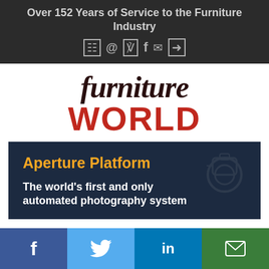Over 152 Years of Service to the Furniture Industry
[Figure (logo): Furniture World magazine logo with stylized italic 'furniture' in dark brown and bold red 'WORLD' below]
[Figure (infographic): Aperture Platform advertisement banner on dark navy background with orange title text 'Aperture Platform' and white body text 'The world's first and only automated photography system']
Social sharing bar with Facebook, Twitter, LinkedIn, and Email buttons